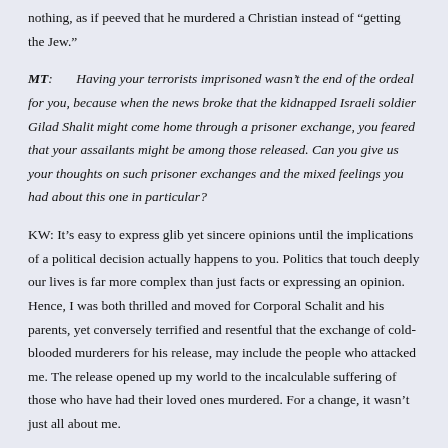nothing, as if peeved that he murdered a Christian instead of “getting the Jew.”
MT: Having your terrorists imprisoned wasn’t the end of the ordeal for you, because when the news broke that the kidnapped Israeli soldier Gilad Shalit might come home through a prisoner exchange, you feared that your assailants might be among those released. Can you give us your thoughts on such prisoner exchanges and the mixed feelings you had about this one in particular?
KW: It’s easy to express glib yet sincere opinions until the implications of a political decision actually happens to you. Politics that touch deeply our lives is far more complex than just facts or expressing an opinion. Hence, I was both thrilled and moved for Corporal Schalit and his parents, yet conversely terrified and resentful that the exchange of cold-blooded murderers for his release, may include the people who attacked me. The release opened up my world to the incalculable suffering of those who have had their loved ones murdered. For a change, it wasn’t just all about me.
I am not a politician, or a leader, or have access to all the intelligence that is needed to reach a decision concerning prisoner exchanges or any other decisions. With that said, and with emotions aside, to me it is clear: releasing un-remorseful